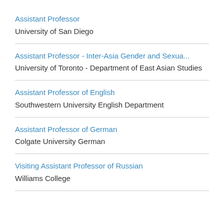Assistant Professor
University of San Diego
Assistant Professor - Inter-Asia Gender and Sexua...
University of Toronto - Department of East Asian Studies
Assistant Professor of English
Southwestern University English Department
Assistant Professor of German
Colgate University German
Visiting Assistant Professor of Russian
Williams College